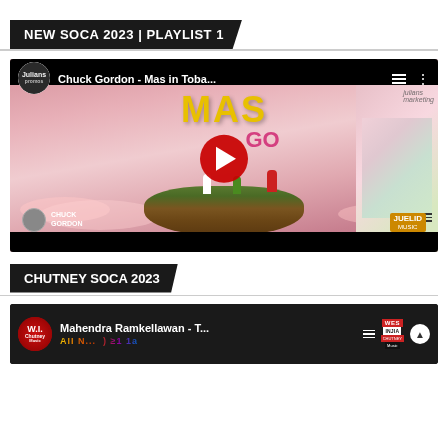NEW SOCA 2023 | PLAYLIST 1
[Figure (screenshot): YouTube video thumbnail for Chuck Gordon - Mas in Toba... showing a floating island with carnival figures, MAS text, play button, Julians Promos channel logo]
CHUTNEY SOCA 2023
[Figure (screenshot): YouTube video thumbnail for Mahendra Ramkellawan - T... showing Chutney music channel logo (red W.I. Chutney Music) and colorful text, West India Chutney Music badge on right]